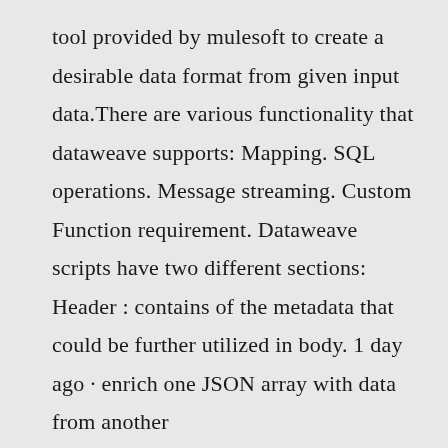tool provided by mulesoft to create a desirable data format from given input data.There are various functionality that dataweave supports: Mapping. SQL operations. Message streaming. Custom Function requirement. Dataweave scripts have two different sections: Header : contains of the metadata that could be further utilized in body. 1 day ago · enrich one JSON array with data from another